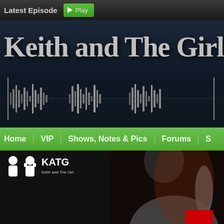Latest Episode  ▶ Play
Keith and The Girl
[Figure (illustration): Audio waveform graphic on dark background]
[Figure (infographic): Navigation bar with green background containing: Home | VIP | Shows, Notes & Pics | Forums | S...]
[Figure (logo): KATG logo - Keith and The Girl headphone icons with text]
[Figure (photo): Person photo on dark background, partial view of a man listening, with red element at bottom right]